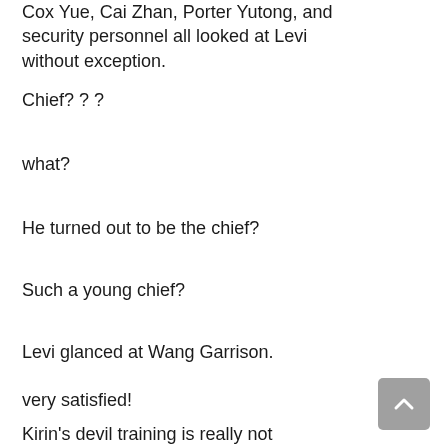Cox Yue, Cai Zhan, Porter Yutong, and security personnel all looked at Levi without exception.
Chief? ? ?
what?
He turned out to be the chief?
Such a young chief?
Levi glanced at Wang Garrison.
very satisfied!
Kirin's devil training is really not covered!